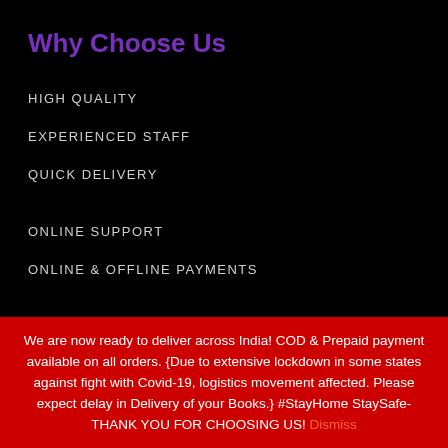Why Choose Us
HIGH QUALITY
EXPERIENCED STAFF
QUICK DELIVERY
ONLINE SUPPORT
ONLINE & OFFLINE PAYMENTS
Website Policies
TERMS OF SERVICE
PRIVACY POLICY
REFUNDS POLICY
We are now ready to deliver across India! COD & Prepaid payment available on all orders. {Due to extensive lockdown in some states against fight with Covid-19, logistics movement affected. Please expect delay in Delivery of your Books.} #StayHome StaySafe- THANK YOU FOR CHOOSING US! Dismiss